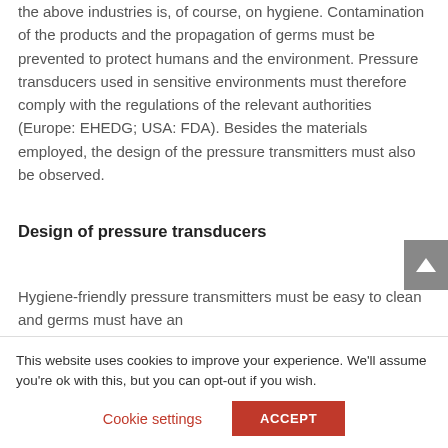the above industries is, of course, on hygiene. Contamination of the products and the propagation of germs must be prevented to protect humans and the environment. Pressure transducers used in sensitive environments must therefore comply with the regulations of the relevant authorities (Europe: EHEDG; USA: FDA). Besides the materials employed, the design of the pressure transmitters must also be observed.
Design of pressure transducers
Hygiene-friendly pressure transmitters must be easy to clean and germs must have an
This website uses cookies to improve your experience. We'll assume you're ok with this, but you can opt-out if you wish.